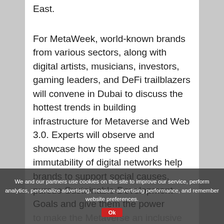East.
For MetaWeek, world-known brands from various sectors, along with digital artists, musicians, investors, gaming leaders, and DeFi trailblazers will convene in Dubai to discuss the hottest trends in building infrastructure for Metaverse and Web 3.0. Experts will observe and showcase how the speed and immutability of digital networks help brands to support social causes, pursue Sustainable Development Goals and give them the power to make the Metaverse an inclusive performance, and strong force for social impact.
We and our partners use cookies on this site to improve our service, perform analytics, personalize advertising, measure advertising performance, and remember website preferences.